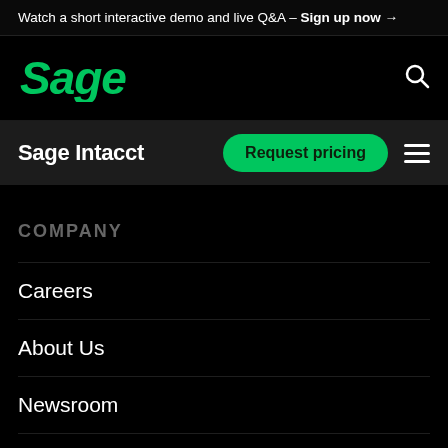Watch a short interactive demo and live Q&A – Sign up now →
[Figure (logo): Sage logo in green italic text]
Sage Intacct
Request pricing
COMPANY
Careers
About Us
Newsroom
Events